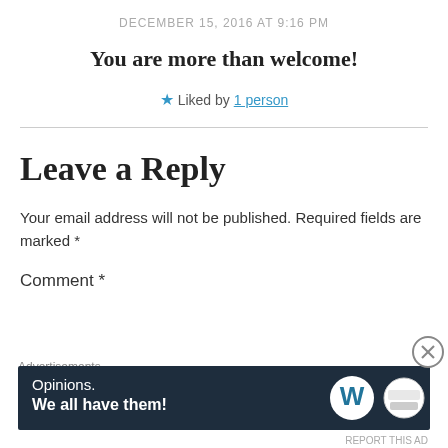DECEMBER 15, 2016 AT 9:16 PM
You are more than welcome!
★ Liked by 1 person
Leave a Reply
Your email address will not be published. Required fields are marked *
Comment *
Advertisements
[Figure (other): WordPress advertisement banner: 'Opinions. We all have them!' with WordPress W logo and another circular logo on dark navy background]